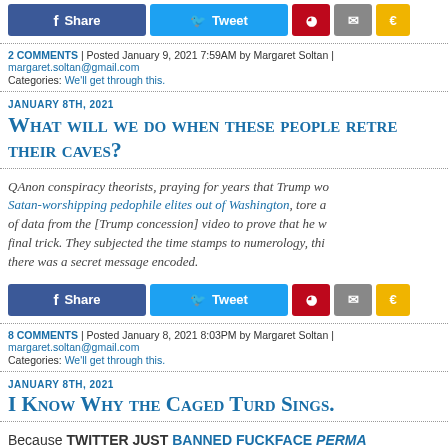[Figure (other): Social share buttons row: Facebook Share, Twitter Tweet, Pinterest, Email, SMS]
2 COMMENTS | Posted January 9, 2021 7:59AM by Margaret Soltan | margaret.soltan@gmail.com
Categories: We'll get through this.
JANUARY 8TH, 2021
What will we do when these people retreat to their caves?
QAnon conspiracy theorists, praying for years that Trump wo... Satan-worshipping pedophile elites out of Washington, tore a... of data from the [Trump concession] video to prove that he w... final trick. They subjected the time stamps to numerology, thi... there was a secret message encoded.
[Figure (other): Social share buttons row: Facebook Share, Twitter Tweet, Pinterest, Email, SMS]
8 COMMENTS | Posted January 8, 2021 8:03PM by Margaret Soltan | margaret.soltan@gmail.com
Categories: We'll get through this.
JANUARY 8TH, 2021
I Know Why the Caged Turd Sings.
Because TWITTER JUST BANNED FUCKFACE PERMA...